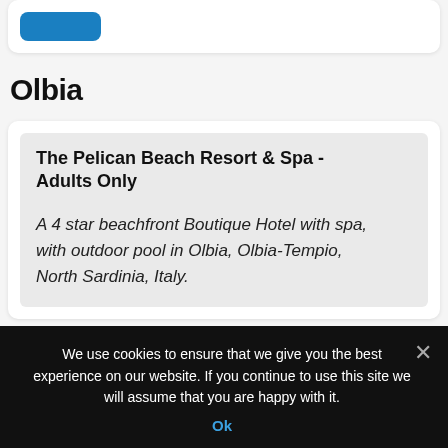[Figure (screenshot): Blue button partially visible at top of a white card]
Olbia
The Pelican Beach Resort & Spa - Adults Only
A 4 star beachfront Boutique Hotel with spa, with outdoor pool in Olbia, Olbia-Tempio, North Sardinia, Italy.
We use cookies to ensure that we give you the best experience on our website. If you continue to use this site we will assume that you are happy with it.
Ok